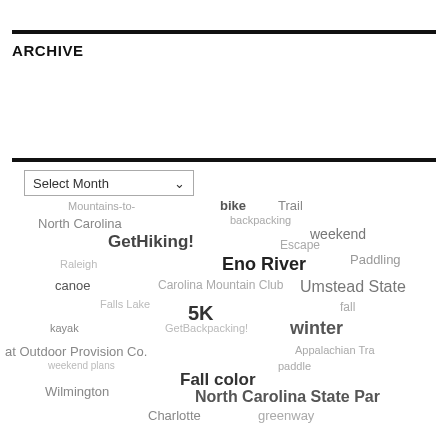ARCHIVE
[Figure (other): Select Month dropdown UI element]
[Figure (infographic): Tag cloud with outdoor/hiking related terms including: Mountains-to-Sea Trail, bike, North Carolina, backpacking, weekend, GetHiking!, Escape, Paddling, Raleigh, Eno River, canoe, Carolina Mountain Club, Falls Lake, Umstead State, 5K, fall, kayak, GetBackpacking!, winter, at Outdoor Provision Co., Appalachian Tra, weekend plans, paddle, Fall color, Wilmington, North Carolina State Par, Charlotte, greenway, Charlotte]